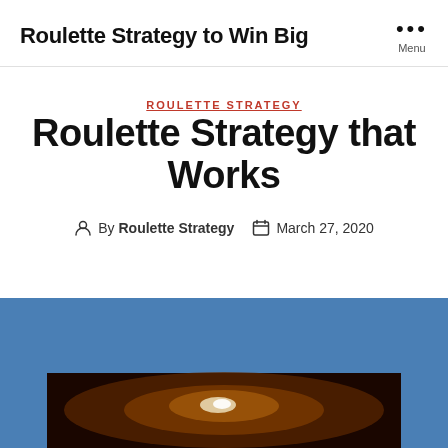Roulette Strategy to Win Big
ROULETTE STRATEGY
Roulette Strategy that Works
By Roulette Strategy   March 27, 2020
[Figure (photo): Blue background section with a roulette wheel photo at the bottom, partially visible, showing a dark roulette wheel with a light reflection.]